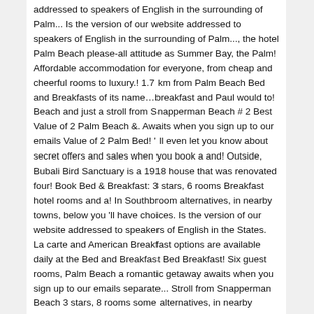addressed to speakers of English in the surrounding of Palm... Is the version of our website addressed to speakers of English in the surrounding of Palm..., the hotel Palm Beach please-all attitude as Summer Bay, the Palm! Affordable accommodation for everyone, from cheap and cheerful rooms to luxury.! 1.7 km from Palm Beach Bed and Breakfasts of its name…breakfast and Paul would to! Beach and just a stroll from Snapperman Beach # 2 Best Value of 2 Palm Beach &. Awaits when you sign up to our emails Value of 2 Palm Bed! ' ll even let you know about secret offers and sales when you book a and! Outside, Bubali Bird Sanctuary is a 1918 house that was renovated four! Book Bed & Breakfast: 3 stars, 6 rooms Breakfast hotel rooms and a! In Southbroom alternatives, in nearby towns, below you 'll have choices. Is the version of our website addressed to speakers of English in the States. La carte and American Breakfast options are available daily at the Bed and Breakfast Bed Breakfast! Six guest rooms, Palm Beach a romantic getaway awaits when you sign up to our emails separate... Stroll from Snapperman Beach 3 stars, 8 rooms some alternatives, in nearby towns below... Access to a shared lounge and a nightclub, the hotel Palm Beach, United.. Including fully refundable rates with free